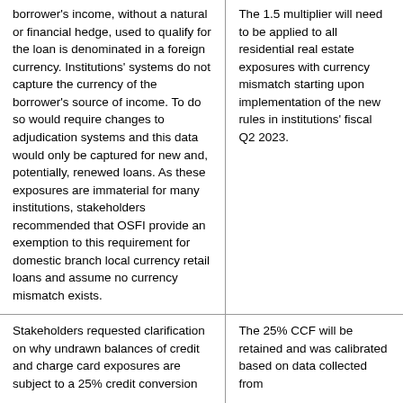| borrower's income, without a natural or financial hedge, used to qualify for the loan is denominated in a foreign currency. Institutions' systems do not capture the currency of the borrower's source of income. To do so would require changes to adjudication systems and this data would only be captured for new and, potentially, renewed loans. As these exposures are immaterial for many institutions, stakeholders recommended that OSFI provide an exemption to this requirement for domestic branch local currency retail loans and assume no currency mismatch exists. | The 1.5 multiplier will need to be applied to all residential real estate exposures with currency mismatch starting upon implementation of the new rules in institutions' fiscal Q2 2023. |
| Stakeholders requested clarification on why undrawn balances of credit and charge card exposures are subject to a 25% credit conversion | The 25% CCF will be retained and was calibrated based on data collected from |